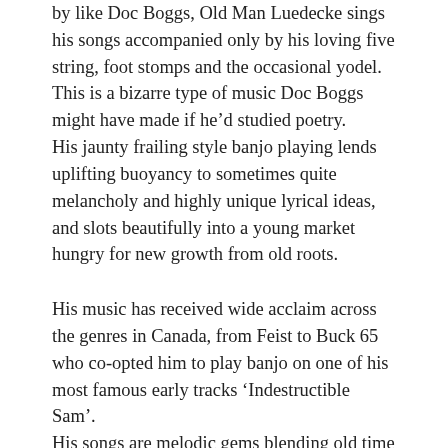by like Doc Boggs, Old Man Luedecke sings his songs accompanied only by his loving five string, foot stomps and the occasional yodel. This is a bizarre type of music Doc Boggs might have made if he'd studied poetry. His jaunty frailing style banjo playing lends uplifting buoyancy to sometimes quite melancholy and highly unique lyrical ideas, and slots beautifully into a young market hungry for new growth from old roots.
His music has received wide acclaim across the genres in Canada, from Feist to Buck 65 who co-opted him to play banjo on one of his most famous early tracks 'Indestructible Sam'. His songs are melodic gems blending old time sensibilities with an unusual vision and poetic sense. His music belies someone more than slightly ill at ease with modern life and he performs with a gentle and endearing charisma, stories littered with a canny oblique humour. He is a sly entertainer with almost a hint of contemporary